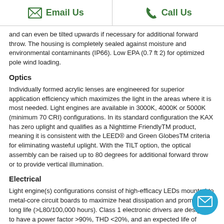Email Us | Call Us
and can even be tilted upwards if necessary for additional forward throw. The housing is completely sealed against moisture and environmental contaminants (IP66). Low EPA (0.7 ft 2) for optimized pole wind loading.
Optics
Individually formed acrylic lenses are engineered for superior application efficiency which maximizes the light in the areas where it is most needed. Light engines are available in 3000K, 4000K or 5000K (minimum 70 CRI) configurations. In its standard configuration the KAX has zero uplight and qualifies as a Nighttime FriendlyTM product, meaning it is consistent with the LEED® and Green GlobesTM criteria for eliminating wasteful uplight. With the TILT option, the optical assembly can be raised up to 80 degrees for additional forward throw or to provide vertical illumination.
Electrical
Light engine(s) configurations consist of high-efficacy LEDs mounted to metal-core circuit boards to maximize heat dissipation and promote long life (>L80/100,000 hours). Class 1 electronic drivers are designed to have a power factor >90%, THD <20%, and an expected life of 100,000 hours. Easily serviceable 10kV surge protection device meets a minimum Category C Low operation (per ANSI/IEEE C62.41.2).
Installation
The base of the mounting arm features a universal mounting template to facilitate quick and easy installation. Mounting bolts featuring a 1000-hour salt A ell d ti th t d d th b dd bl 1 5 11 it